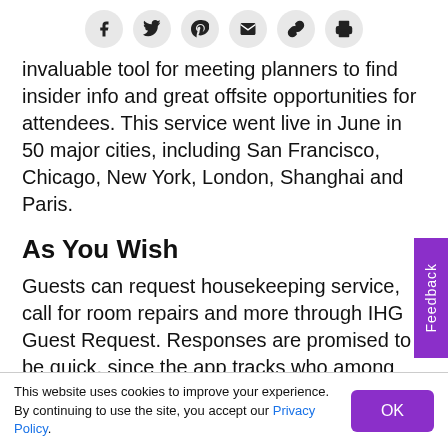[Figure (other): Social sharing icons row: Facebook, Twitter, Pinterest, Email, Link, Print]
invaluable tool for meeting planners to find insider info and great offsite opportunities for attendees. This service went live in June in 50 major cities, including San Francisco, Chicago, New York, London, Shanghai and Paris.
As You Wish
Guests can request housekeeping service, call for room repairs and more through IHG Guest Request. Responses are promised to be quick, since the app tracks who among the staff is taking care of each
This website uses cookies to improve your experience. By continuing to use the site, you accept our Privacy Policy.